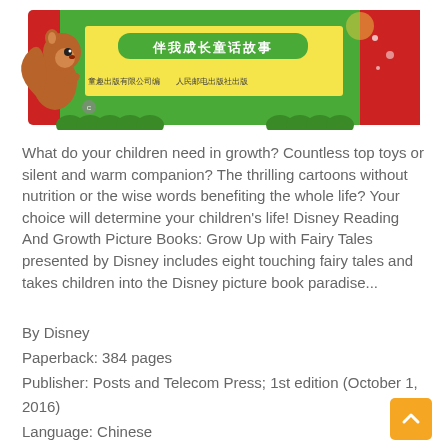[Figure (photo): Disney Reading And Growth Picture Books box set with Chinese text '伴我成长童话故事', featuring a squirrel illustration on a red and green box. Publisher logos at bottom.]
What do your children need in growth? Countless top toys or silent and warm companion? The thrilling cartoons without nutrition or the wise words benefiting the whole life? Your choice will determine your children's life! Disney Reading And Growth Picture Books: Grow Up with Fairy Tales presented by Disney includes eight touching fairy tales and takes children into the Disney picture book paradise...
By Disney
Paperback: 384 pages
Publisher: Posts and Telecom Press; 1st edition (October 1, 2016)
Language: Chinese
ISBN-10: 7115432244
ISBN-13: 978-7115432247